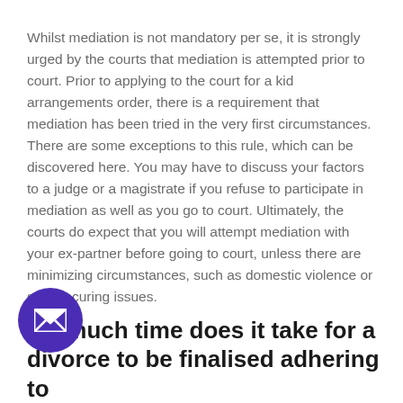Whilst mediation is not mandatory per se, it is strongly urged by the courts that mediation is attempted prior to court. Prior to applying to the court for a kid arrangements order, there is a requirement that mediation has been tried in the very first circumstances. There are some exceptions to this rule, which can be discovered here. You may have to discuss your factors to a judge or a magistrate if you refuse to participate in mediation as well as you go to court. Ultimately, the courts do expect that you will attempt mediation with your ex-partner before going to court, unless there are minimizing circumstances, such as domestic violence or safe securing issues.
How much time does it take for a divorce to be finalised adhering to